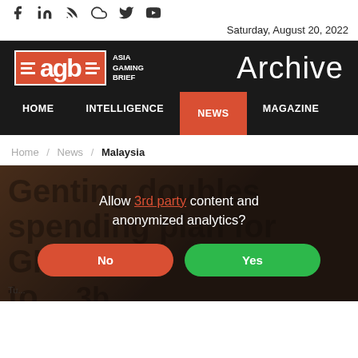Social icons: Facebook, LinkedIn, RSS, Cloud, Twitter, YouTube
Saturday, August 20, 2022
[Figure (logo): Asia Gaming Brief (AGB) logo with red lettering on dark background]
Archive
HOME   INTELLIGENCE   NEWS   MAGAZINE
Home / News / Malaysia
Genting doubles spending plan for GITP to ...3b
Allow 3rd party content and anonymized analytics?
No
Yes